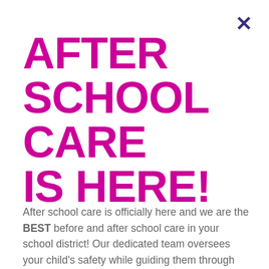AFTER SCHOOL CARE IS HERE!
After school care is officially here and we are the BEST before and after school care in your school district! Our dedicated team oversees your child's safety while guiding them through themed explorations, homework help, playground time,